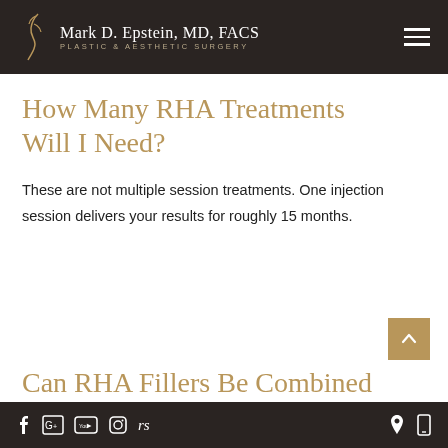Mark D. Epstein, MD, FACS PLASTIC & AESTHETIC SURGERY
How Many RHA Treatments Will I Need?
These are not multiple session treatments. One injection session delivers your results for roughly 15 months.
Can RHA Fillers Be Combined
f [Google] [YouTube] [Instagram] rs | [location] [mobile]